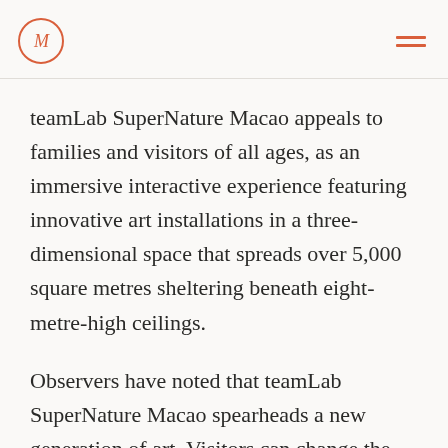M (logo)
teamLab SuperNature Macao appeals to families and visitors of all ages, as an immersive interactive experience featuring innovative art installations in a three-dimensional space that spreads over 5,000 square metres sheltering beneath eight-metre-high ceilings.
Observers have noted that teamLab SuperNature Macao spearheads a new generation of art. Visitors can change the nature of the works in real time, directly affecting outcomes through synergistic interaction. The artworks are not pre-recorded images but created by a computer programme that continuously renders and